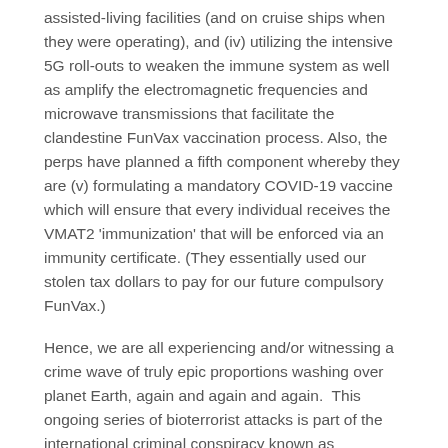assisted-living facilities (and on cruise ships when they were operating), and (iv) utilizing the intensive 5G roll-outs to weaken the immune system as well as amplify the electromagnetic frequencies and microwave transmissions that facilitate the clandestine FunVax vaccination process. Also, the perps have planned a fifth component whereby they are (v) formulating a mandatory COVID-19 vaccine which will ensure that every individual receives the VMAT2 'immunization' that will be enforced via an immunity certificate. (They essentially used our stolen tax dollars to pay for our future compulsory FunVax.)
Hence, we are all experiencing and/or witnessing a crime wave of truly epic proportions washing over planet Earth, again and again and again. This ongoing series of bioterrorist attacks is part of the international criminal conspiracy known as OPERATION COVID-19 which is the NWO prerequisite to the worldwide implementation of COVID-1984.